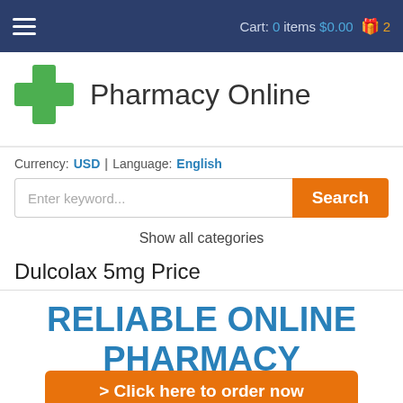Cart: 0 items $0.00 🎁 2
Pharmacy Online
Currency: USD | Language: English
Enter keyword...
Show all categories
Dulcolax 5mg Price
RELIABLE ONLINE PHARMACY
> Click here to order now